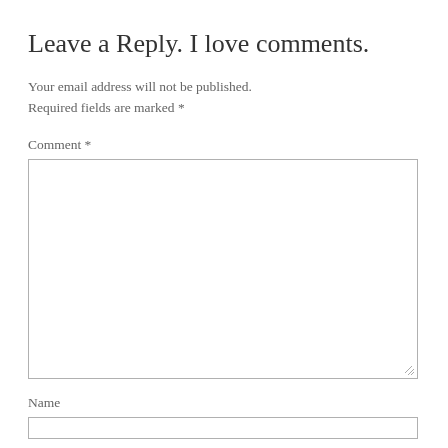Leave a Reply. I love comments.
Your email address will not be published. Required fields are marked *
Comment *
Name